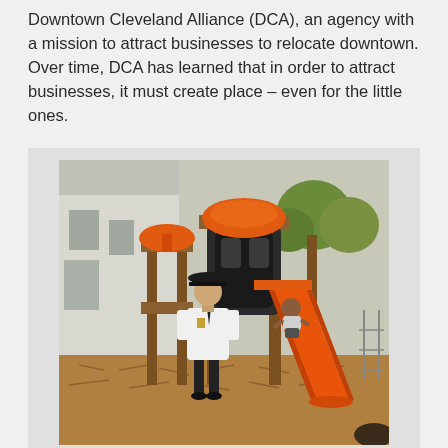Downtown Cleveland Alliance (DCA), an agency with a mission to attract businesses to relocate downtown. Over time, DCA has learned that in order to attract businesses, it must create place – even for the little ones.
[Figure (photo): A police officer in a white uniform shirt and black pants stands watching a small child sitting on an orange playground slide at a colorful orange and brown wooden playground structure. Wood chip mulch covers the ground. Trees and a white building are visible in the background.]